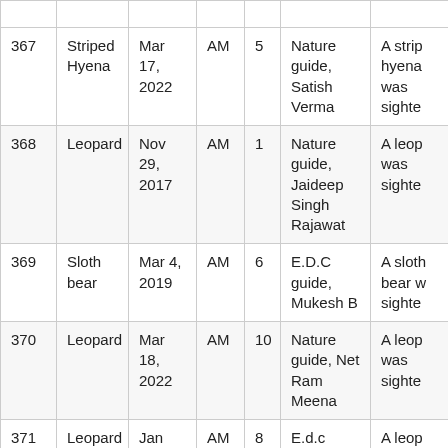| ID | Animal | Date | Time | Count | Guide | Description |
| --- | --- | --- | --- | --- | --- | --- |
| 367 | Striped Hyena | Mar 17, 2022 | AM | 5 | Nature guide, Satish Verma | A strip hyena was sighte... |
| 368 | Leopard | Nov 29, 2017 | AM | 1 | Nature guide, Jaideep Singh Rajawat | A leop was sighte... |
| 369 | Sloth bear | Mar 4, 2019 | AM | 6 | E.D.C guide, Mukesh B | A sloth bear w sighte... |
| 370 | Leopard | Mar 18, 2022 | AM | 10 | Nature guide, Net Ram Meena | A leop was sighte... |
| 371 | Leopard | Jan 25, ... | AM | 8 | E.d.c ... | A leop... |